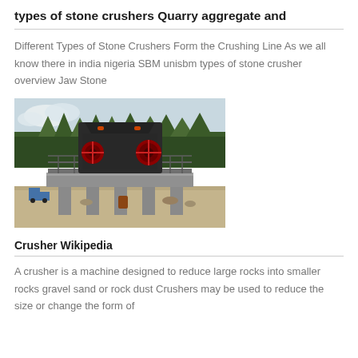types of stone crushers Quarry aggregate and
Different Types of Stone Crushers Form the Crushing Line As we all know there in india nigeria SBM unisbm types of stone crusher overview Jaw Stone
[Figure (photo): Large industrial stone crusher machine mounted on concrete pillars at an outdoor quarry site, with trees in the background and construction debris around.]
Crusher Wikipedia
A crusher is a machine designed to reduce large rocks into smaller rocks gravel sand or rock dust Crushers may be used to reduce the size or change the form of